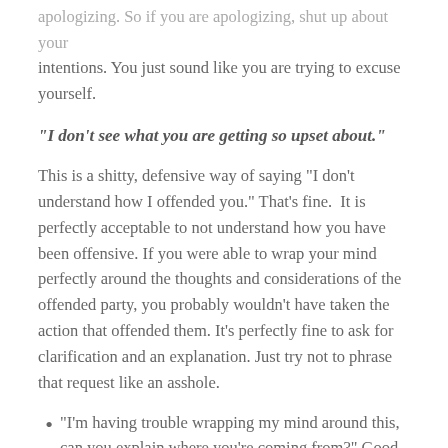apologizing. So if you are apologizing, shut up about your intentions. You just sound like you are trying to excuse yourself.
“I don’t see what you are getting so upset about.”
This is a shitty, defensive way of saying “I don’t understand how I offended you.” That’s fine. It is perfectly acceptable to not understand how you have been offensive. If you were able to wrap your mind perfectly around the thoughts and considerations of the offended party, you probably wouldn’t have taken the action that offended them. It’s perfectly fine to ask for clarification and an explanation. Just try not to phrase that request like an asshole.
“I’m having trouble wrapping my mind around this, can you explain where you’re coming from?” Good.
“Can you tell me why a person like you is offended by